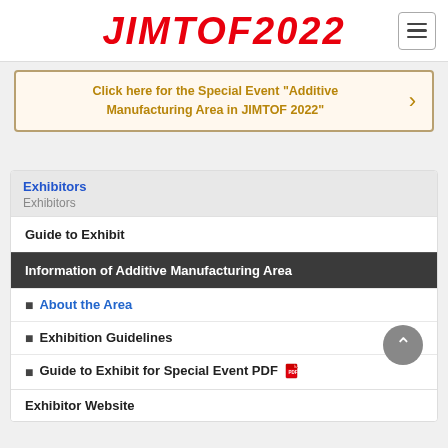JIMTOF2022
Click here for the Special Event "Additive Manufacturing Area in JIMTOF 2022"
Exhibitors
Exhibitors
Guide to Exhibit
Information of Additive Manufacturing Area
About the Area
Exhibition Guidelines
Guide to Exhibit for Special Event PDF
Exhibitor Website